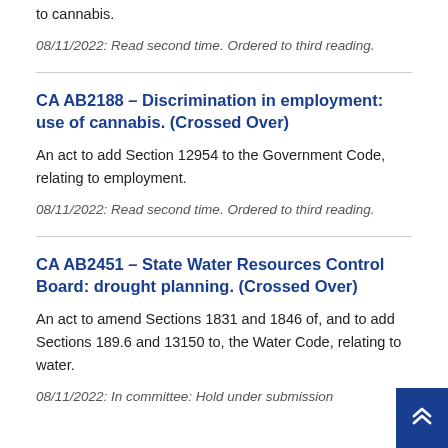to cannabis.
08/11/2022: Read second time. Ordered to third reading.
CA AB2188 – Discrimination in employment: use of cannabis. (Crossed Over)
An act to add Section 12954 to the Government Code, relating to employment.
08/11/2022: Read second time. Ordered to third reading.
CA AB2451 – State Water Resources Control Board: drought planning. (Crossed Over)
An act to amend Sections 1831 and 1846 of, and to add Sections 189.6 and 13150 to, the Water Code, relating to water.
08/11/2022: In committee: Hold under submission